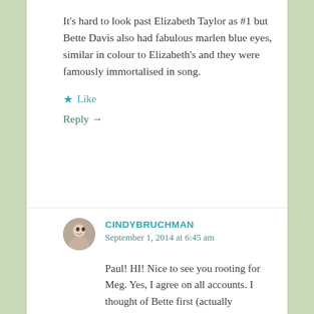It's hard to look past Elizabeth Taylor as #1 but Bette Davis also had fabulous marlen blue eyes, similar in colour to Elizabeth's and they were famously immortalised in song.
★ Like
Reply →
CINDYBRUCHMAN
September 1, 2014 at 6:45 am
Paul! HI! Nice to see you rooting for Meg. Yes, I agree on all accounts. I thought of Bette first (actually remember vividly